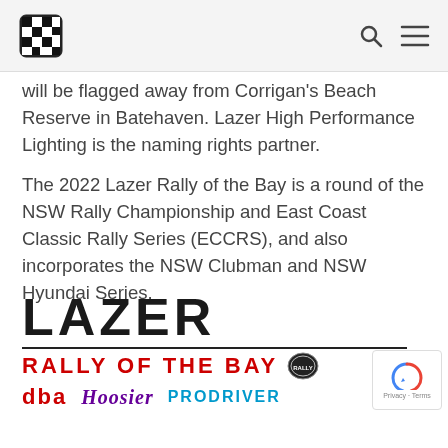[Navigation bar with logo and search/menu icons]
will be flagged away from Corrigan's Beach Reserve in Batehaven. Lazer High Performance Lighting is the naming rights partner.
The 2022 Lazer Rally of the Bay is a round of the NSW Rally Championship and East Coast Classic Rally Series (ECCRS), and also incorporates the NSW Clubman and NSW Hyundai Series.
[Figure (logo): Lazer Rally of the Bay sponsor logo block with LAZER text in black, RALLY OF THE BAY in red with a badge icon, a horizontal rule, and sponsor logos: dba (red), Hoosier (purple italic), PRODRIVER (cyan)]